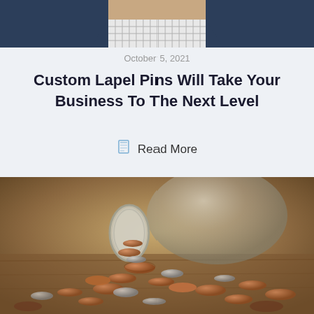[Figure (photo): Top portion of a man in a dark suit with a checkered shirt, cropped at the shoulders/chest area]
October 5, 2021
Custom Lapel Pins Will Take Your Business To The Next Level
Read More
[Figure (photo): A glass mason jar tipped on its side with copper and silver coins spilling out onto a wooden surface]